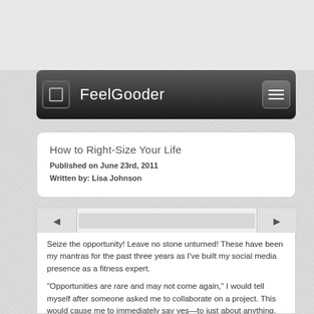FeelGooder
How to Right-Size Your Life
Published on June 23rd, 2011
Written by: Lisa Johnson
Seize the opportunity! Leave no stone unturned! These have been my mantras for the past three years as I've built my social media presence as a fitness expert.
“Opportunities are rare and may not come again,” I would tell myself after someone asked me to collaborate on a project. This would cause me to immediately say yes—to just about anything, really. It was about getting